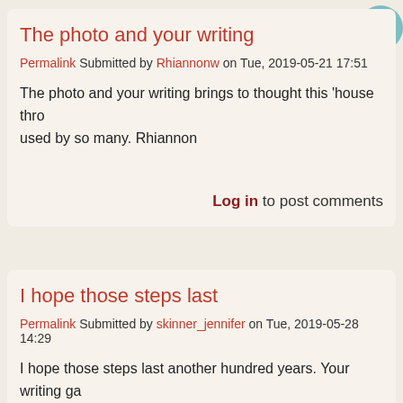The photo and your writing
Permalink Submitted by Rhiannonw on Tue, 2019-05-21 17:51
The photo and your writing brings to thought this 'house thro... used by so many. Rhiannon
Log in to post comments
I hope those steps last
Permalink Submitted by skinner_jennifer on Tue, 2019-05-28 14:29
I hope those steps last another hundred years. Your writing ga... past and the now.